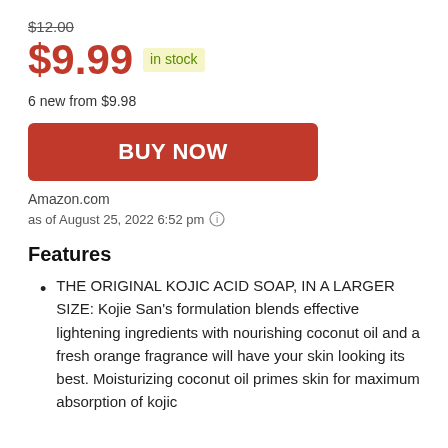$12.00 (strikethrough)
$9.99  in stock
6 new from $9.98
BUY NOW
Amazon.com
as of August 25, 2022 6:52 pm ℹ
Features
THE ORIGINAL KOJIC ACID SOAP, IN A LARGER SIZE: Kojie San's formulation blends effective lightening ingredients with nourishing coconut oil and a fresh orange fragrance will have your skin looking its best. Moisturizing coconut oil primes skin for maximum absorption of kojic acid.